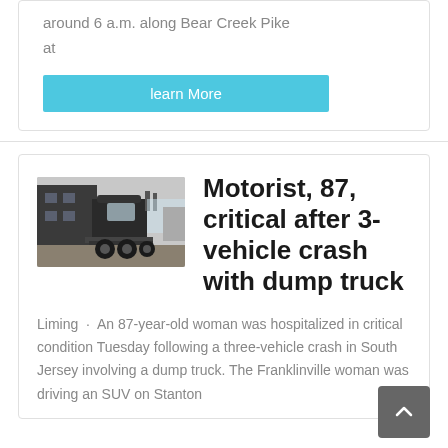around 6 a.m. along Bear Creek Pike at
learn More
[Figure (photo): Rear view of a large semi-truck/heavy goods vehicle in a parking/industrial area]
Motorist, 87, critical after 3-vehicle crash with dump truck
Liming · An 87-year-old woman was hospitalized in critical condition Tuesday following a three-vehicle crash in South Jersey involving a dump truck. The Franklinville woman was driving an SUV on Stanton